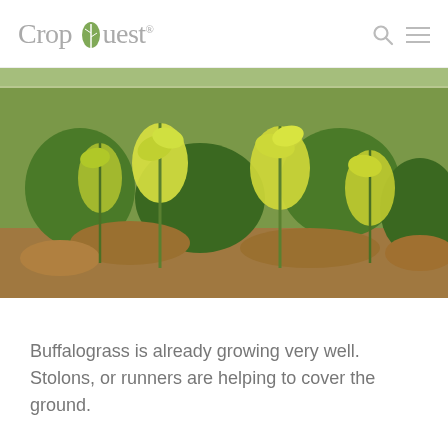CropQuest®
[Figure (photo): Field photograph showing buffalograss plants with yellow-green foliage growing in dry soil. The plants are spreading with stolons visible across the ground.]
Buffalograss is already growing very well.  Stolons, or runners are helping to cover the ground.